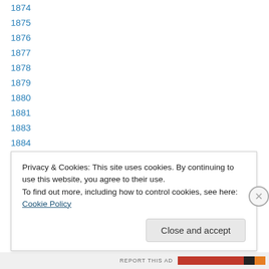1874
1875
1876
1877
1878
1879
1880
1881
1883
1884
1885
1886
1887
Privacy & Cookies: This site uses cookies. By continuing to use this website, you agree to their use. To find out more, including how to control cookies, see here: Cookie Policy
REPORT THIS AD